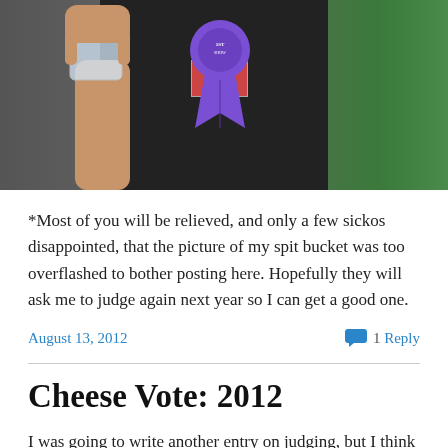[Figure (photo): Person holding a clear plastic cup, wearing a dark vest with a purple first-place ribbon and a red badge, with a green-shirted person partially visible on the right]
*Most of you will be relieved, and only a few sickos disappointed, that the picture of my spit bucket was too overflashed to bother posting here. Hopefully they will ask me to judge again next year so I can get a good one.
August 13, 2012
1 Reply
Cheese Vote: 2012
I was going to write another entry on judging, but I think I said everything that I wanted to yesterday. So instead,